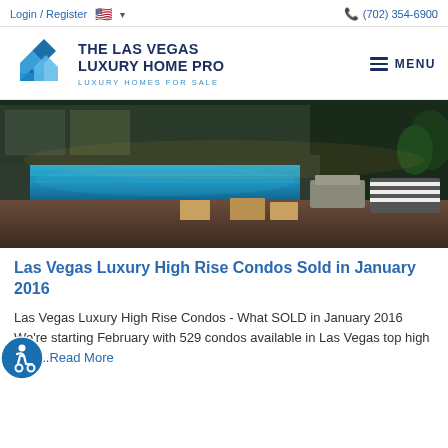Login / Register  🇺🇸 ▾    📞 (702) 354-6900
[Figure (logo): The Las Vegas Luxury Home Pro logo with blue diamond/house icon and text 'THE LAS VEGAS LUXURY HOME PRO - LUXURY HOMES FOR SALE' and a hamburger MENU button]
[Figure (photo): Luxury high-rise condo pool area at night with lounge chairs, fire pits, and pool glowing in blue light]
Las Vegas Luxury High Rise Condos Sold in January 2016
Las Vegas Luxury High Rise Condos - What SOLD in January 2016 We're starting February with 529 condos available in Las Vegas top high rise ...Read More